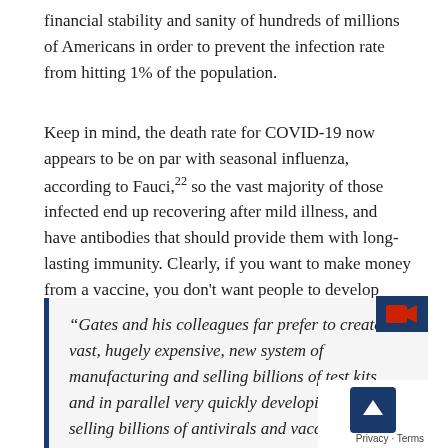financial stability and sanity of hundreds of millions of Americans in order to prevent the infection rate from hitting 1% of the population.
Keep in mind, the death rate for COVID-19 now appears to be on par with seasonal influenza, according to Fauci,22 so the vast majority of those infected end up recovering after mild illness, and have antibodies that should provide them with long-lasting immunity. Clearly, if you want to make money from a vaccine, you don't want people to develop immunity naturally, and this is precisely what Gates is admitting to. As noted by OffGuardian:23
“Gates and his colleagues far prefer to create a vast, hugely expensive, new system of manufacturing and selling billions of test kits, and in parallel very quickly developing and selling billions of antivirals and vaccines.
Privacy · Terms